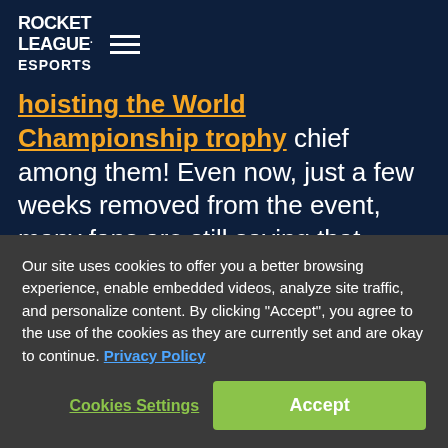ROCKET LEAGUE. ESPORTS
hoisting the World Championship trophy chief among them! Even now, just a few weeks removed from the event, many fans are still saying that Season 5 was the best RLCS to date! But now it's time to look to the road ahead, which brings us to today and the official announcement that Season 6 is coming and it's going to be BIG!
UPPING THE ANTE
Our site uses cookies to offer you a better browsing experience, enable embedded videos, analyze site traffic, and personalize content. By clicking “Accept”, you agree to the use of the cookies as they are currently set and are okay to continue. Privacy Policy
Cookies Settings | Accept